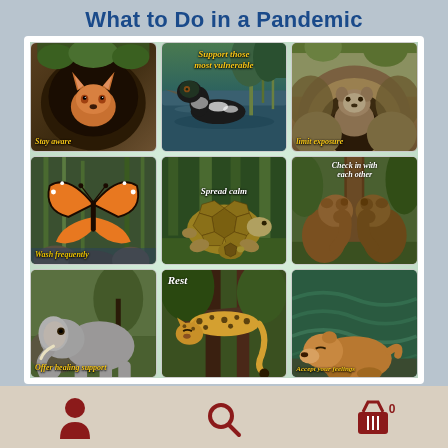What to Do in a Pandemic
[Figure (illustration): A 3x3 grid of illustrated animal panels with text labels for pandemic advice. Row 1: Fox in den (Stay aware), Loon on water (Support those most vulnerable), Groundhog in burrow (limit exposure). Row 2: Monarch butterfly on reeds (Wash frequently), Tortoise in forest (Spread calm), Two bears hugging tree (Check in with each other). Row 3: Elephant and rock (Offer healing support), Cheetah resting on branch (Rest), Sleeping animal (Accept your feelings).]
Navigation bar with person icon, search icon, and basket icon with 0